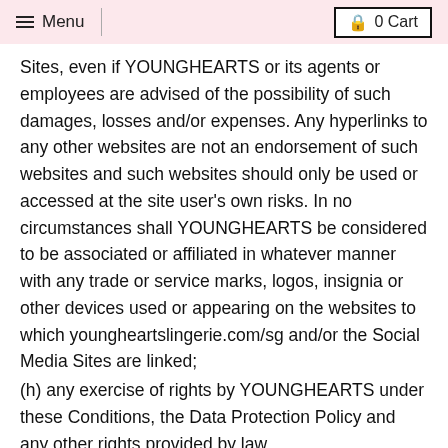Menu | 0 Cart
Sites, even if YOUNGHEARTS or its agents or employees are advised of the possibility of such damages, losses and/or expenses. Any hyperlinks to any other websites are not an endorsement of such websites and such websites should only be used or accessed at the site user's own risks. In no circumstances shall YOUNGHEARTS be considered to be associated or affiliated in whatever manner with any trade or service marks, logos, insignia or other devices used or appearing on the websites to which youngheartslingerie.com/sg and/or the Social Media Sites are linked;
(h) any exercise of rights by YOUNGHEARTS under these Conditions, the Data Protection Policy and any other rights provided by law.
This disclaimer of liability shall take effect to the full extent permitted by Singapore law.